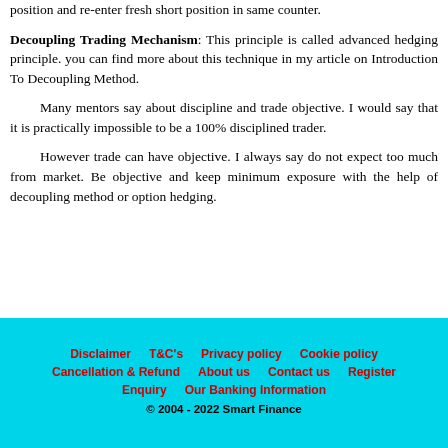fall 3100, you will close your existing long position and re-enter fresh short position in same counter.
Decoupling Trading Mechanism: This principle is called advanced hedging principle. you can find more about this technique in my article on Introduction To Decoupling Method.
Many mentors say about discipline and trade objective. I would say that it is practically impossible to be a 100% disciplined trader.
However trade can have objective. I always say do not expect too much from market. Be objective and keep minimum exposure with the help of decoupling method or option hedging.
Disclaimer   T&C's   Privacy policy   Cookie policy   Cancellation & Refund   About us   Contact us   Register   Enquiry   Our Banking Information   © 2004 - 2022 Smart Finance